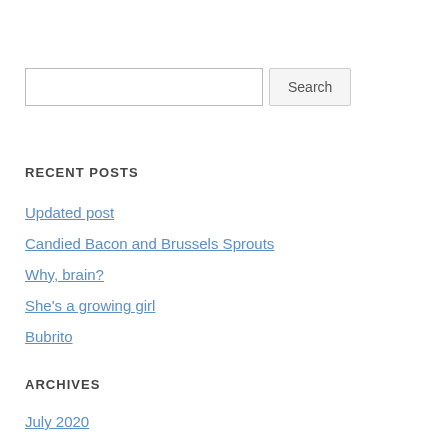[Figure (other): Search input box with Search button]
RECENT POSTS
Updated post
Candied Bacon and Brussels Sprouts
Why, brain?
She's a growing girl
Bubrito
ARCHIVES
July 2020